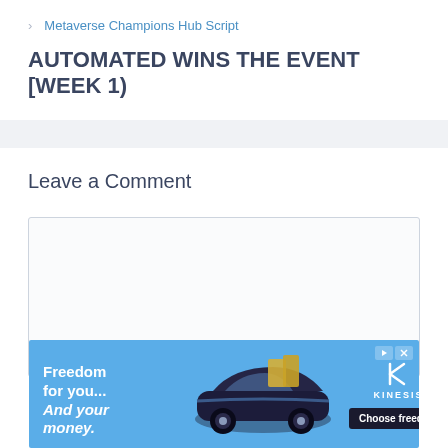> Metaverse Champions Hub Script
AUTOMATED WINS THE EVENT [WEEK 1)
Leave a Comment
[Figure (screenshot): Empty comment text area input box with light gray background and border]
[Figure (illustration): Advertisement banner for Kinesis with text 'Freedom for you... And your money.' showing a vintage sports car on a blue background with 'Choose freedom' button and Kinesis logo]